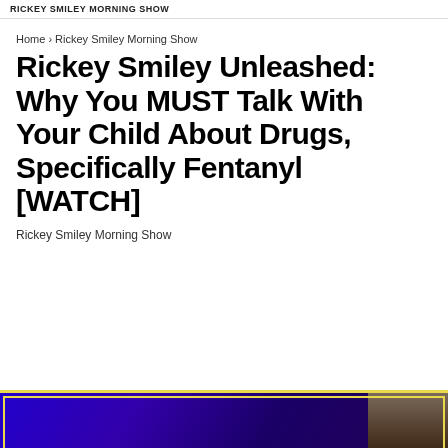RICKEY SMILEY MORNING SHOW
Home › Rickey Smiley Morning Show
Rickey Smiley Unleashed: Why You MUST Talk With Your Child About Drugs, Specifically Fentanyl [WATCH]
Rickey Smiley Morning Show
[Figure (photo): Partial view of a promotional image with blue/purple background and a person on the right side, with yellow border]
• • •